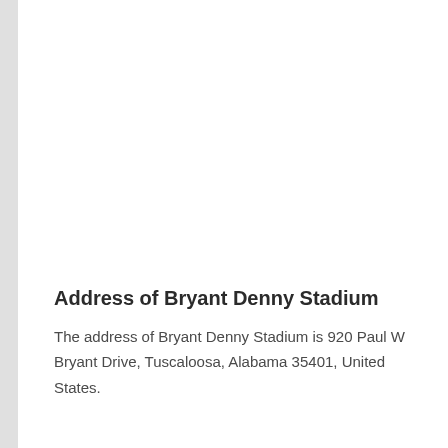Address of Bryant Denny Stadium
The address of Bryant Denny Stadium is 920 Paul W Bryant Drive, Tuscaloosa, Alabama 35401, United States.